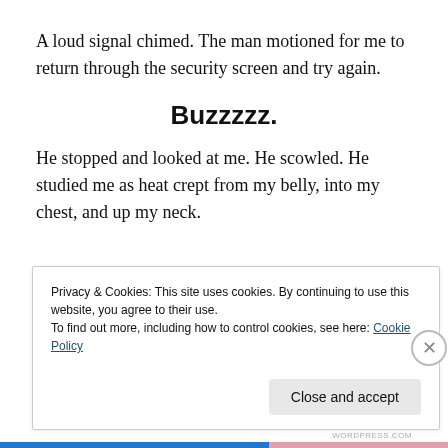A loud signal chimed. The man motioned for me to return through the security screen and try again.
Buzzzzz.
He stopped and looked at me. He scowled. He studied me as heat crept from my belly, into my chest, and up my neck.
Privacy & Cookies: This site uses cookies. By continuing to use this website, you agree to their use.
To find out more, including how to control cookies, see here: Cookie Policy
Close and accept